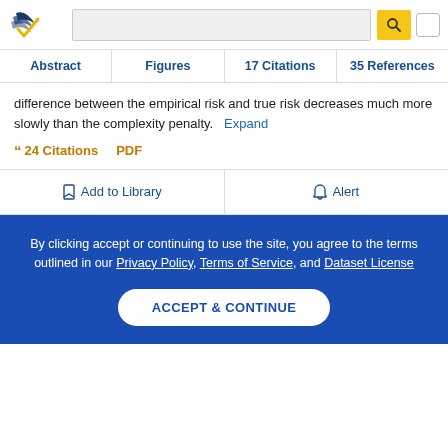Semantic Scholar — search bar with logo
Abstract
Figures
17 Citations
35 References
difference between the empirical risk and true risk decreases much more slowly than the complexity penalty.    Expand
24 Citations   PDF
Add to Library   Alert
By clicking accept or continuing to use the site, you agree to the terms outlined in our Privacy Policy, Terms of Service, and Dataset License
ACCEPT & CONTINUE